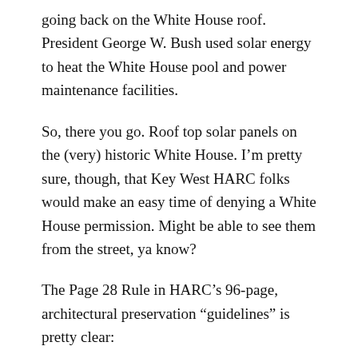going back on the White House roof. President George W. Bush used solar energy to heat the White House pool and power maintenance facilities.
So, there you go. Roof top solar panels on the (very) historic White House. I'm pretty sure, though, that Key West HARC folks would make an easy time of denying a White House permission. Might be able to see them from the street, ya know?
The Page 28 Rule in HARC's 96-page, architectural preservation “guidelines” is pretty clear: